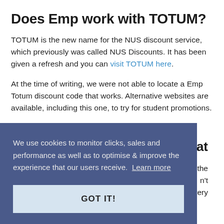Does Emp work with TOTUM?
TOTUM is the new name for the NUS discount service, which previously was called NUS Discounts. It has been given a refresh and you can visit TOTUM here.
At the time of writing, we were not able to locate a Emp Totum discount code that works. Alternative websites are available, including this one, to try for student promotions.
at
eck the n't delivery
We use cookies to monitor clicks, sales and performance as well as to optimise & improve the experience that our users receive. Learn more
GOT IT!
products during seasonal sales.